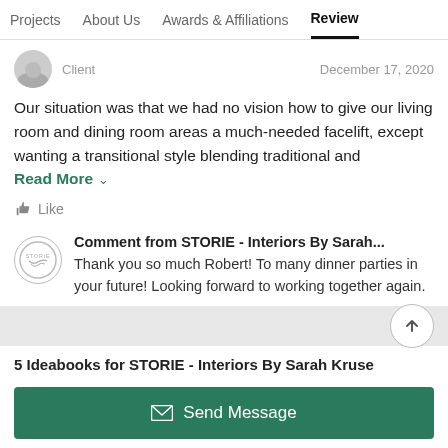Projects  About Us  Awards & Affiliations  Reviews
Client   December 17, 2020
Our situation was that we had no vision how to give our living room and dining room areas a much-needed facelift, except wanting a transitional style blending traditional and
Read More
Like
Comment from STORIE - Interiors By Sarah... Thank you so much Robert! To many dinner parties in your future! Looking forward to working together again.
5 Ideabooks for STORIE - Interiors By Sarah Kruse
Send Message